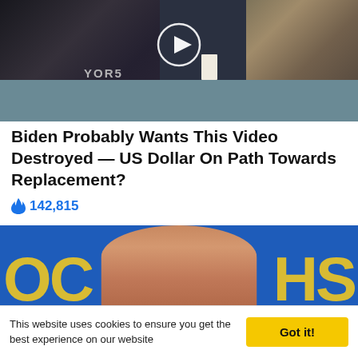[Figure (screenshot): Video thumbnail showing two people seated at a table in what appears to be a TV studio or stock exchange setting, with a play button overlay in the center. Text 'YOR5' visible on screen.]
Biden Probably Wants This Video Destroyed — US Dollar On Path Towards Replacement?
🔥 142,815
[Figure (photo): Photo of a woman with short brown hair speaking at a podium with a blue background showing partial yellow letters 'OC' on the left and 'HS' on the right.]
This website uses cookies to ensure you get the best experience on our website